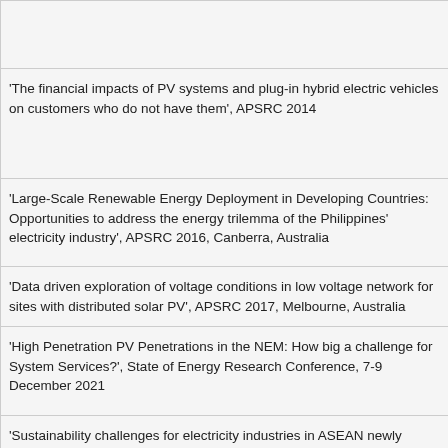'The financial impacts of PV systems and plug-in hybrid electric vehicles on customers who do not have them', APSRC 2014
'Large-Scale Renewable Energy Deployment in Developing Countries: Opportunities to address the energy trilemma of the Philippines' electricity industry', APSRC 2016, Canberra, Australia
'Data driven exploration of voltage conditions in low voltage network for sites with distributed solar PV', APSRC 2017, Melbourne, Australia
'High Penetration PV Penetrations in the NEM: How big a challenge for System Services?', State of Energy Research Conference, 7-9 December 2021
'Sustainability challenges for electricity industries in ASEAN newly industrializing countries', IASTED Conference on Asian Power and Energy Systems, Phuket, Thailand, 24th-26th November 2010